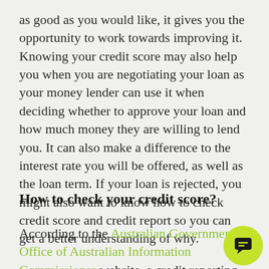as good as you would like, it gives you the opportunity to work towards improving it. Knowing your credit score may also help you when you are negotiating your loan as your money lender can use it when deciding whether to approve your loan and how much money they are willing to lend you. It can also make a difference to the interest rate you will be offered, as well as the loan term. If your loan is rejected, you might also want to know how to check credit score and credit report so you can get a better understanding of why.
How to check your credit score?
According to the Australian Government Office of Australian Information Commissioner website, a credit reporting body is obliged to give you a free copy